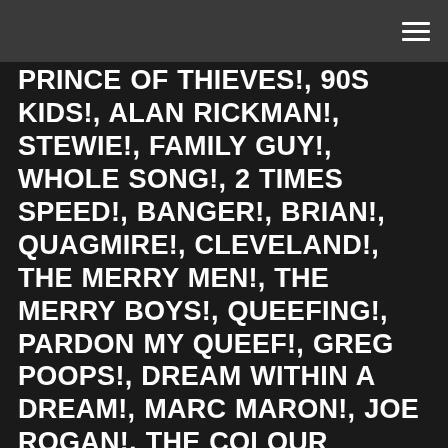[hamburger menu icon]
PRINCE OF THIEVES!, 90S KIDS!, ALAN RICKMAN!, STEWIE!, FAMILY GUY!, WHOLE SONG!, 2 TIMES SPEED!, BANGER!, BRIAN!, QUAGMIRE!, CLEVELAND!, THE MERRY MEN!, THE MERRY BOYS!, QUEEFING!, PARDON MY QUEEF!, GREG POOPS!, DREAM WITHIN A DREAM!, MARC MARON!, JOE ROGAN!, THE COLOUR SOCIETY!, LASER TAG!, WORK DRAMA!, GENERAL MANAGER!, 2 WEEKS NOTICE!, MANAGEMENT!, MEXICO!, DON'T KNOW WHAT YOU GOT TILL IT'S GONE!, CINDERELLA!, STOMACH WORM!, HIRED!, FIRED!, QUATTO!, REPLACEMENT!, 23 YEAR OLD!, MINI GOLF!, SKATEBOARD!, TRUCKS!, NUTS!, BOLTS!, GOODBYE!, SKATE OFF INTO THE SUNSET!, PLAYLIST!, LIMP BIZKIT!, AIRPODS!, MARIAH CAREY!, POKEMON GO!, MCDONALDS!, MCFLURRY!, ACE FREHLEY!